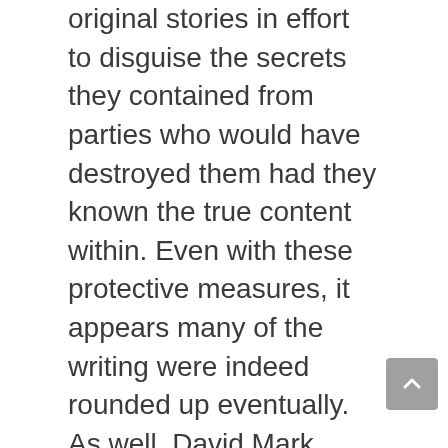original stories in effort to disguise the secrets they contained from parties who would have destroyed them had they known the true content within. Even with these protective measures, it appears many of the writing were indeed rounded up eventually. As well, David Mark Brown mysteriously disappeared during the mid-1930’s.
My promise to the reader is to seek out these Lost DMB files and present them to you unabridged and unaltered from their original intent for as long as I am able (or until the unlikelihood they are all discovered). I also vow to do my best to allow you to draw your own conclusions as to their historical value and contemporary commentary. (I’ll refrain from my preachy